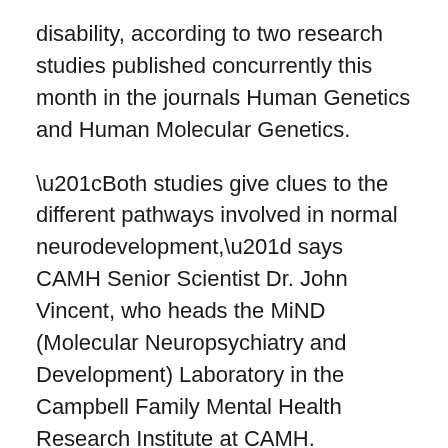disability, according to two research studies published concurrently this month in the journals Human Genetics and Human Molecular Genetics.
“Both studies give clues to the different pathways involved in normal neurodevelopment,” says CAMH Senior Scientist Dr. John Vincent, who heads the MiND (Molecular Neuropsychiatry and Development) Laboratory in the Campbell Family Mental Health Research Institute at CAMH. “We are building up a body of knowledge that is informing us which kinds of genes are important to, and involved in, intellectual disabilities.”
In the first study, Dr. Vincent and his team used microarray genotyping to map the genes of a large Pakistani family which had intermarriage. Five members of the youngest generation were affected with mild to moderate intellectual